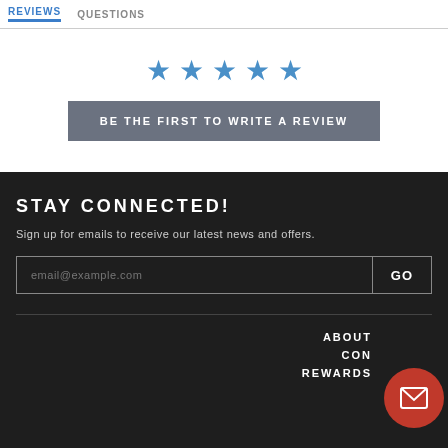REVIEWS   QUESTIONS
[Figure (illustration): Five blue star rating icons arranged horizontally]
BE THE FIRST TO WRITE A REVIEW
STAY CONNECTED!
Sign up for emails to receive our latest news and offers.
email@example.com  GO
ABOUT
CON...
REWARDS